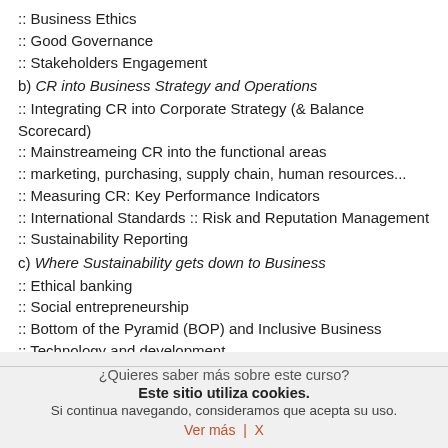:: Business Ethics
:: Good Governance
:: Stakeholders Engagement
b) CR into Business Strategy and Operations
:: Integrating CR into Corporate Strategy (& Balance Scorecard)
:: Mainstreameing CR into the functional areas
:: marketing, purchasing, supply chain, human resources...
:: Measuring CR: Key Performance Indicators
:: International Standards :: Risk and Reputation Management
:: Sustainability Reporting
c) Where Sustainability gets down to Business
:: Ethical banking
:: Social entrepreneurship
:: Bottom of the Pyramid (BOP) and Inclusive Business
:: Technology and development
CONFERENCES  AND FORUMS.
¿Quieres saber más sobre este curso?
Este sitio utiliza cookies.
Si continua navegando, consideramos que acepta su uso.
Ver más  |  X